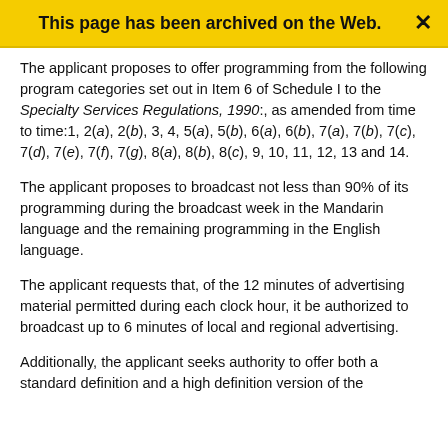This page has been archived on the Web.
The applicant proposes to offer programming from the following program categories set out in Item 6 of Schedule I to the Specialty Services Regulations, 1990:, as amended from time to time:1, 2(a), 2(b), 3, 4, 5(a), 5(b), 6(a), 6(b), 7(a), 7(b), 7(c), 7(d), 7(e), 7(f), 7(g), 8(a), 8(b), 8(c), 9, 10, 11, 12, 13 and 14.
The applicant proposes to broadcast not less than 90% of its programming during the broadcast week in the Mandarin language and the remaining programming in the English language.
The applicant requests that, of the 12 minutes of advertising material permitted during each clock hour, it be authorized to broadcast up to 6 minutes of local and regional advertising.
Additionally, the applicant seeks authority to offer both a standard definition and a high definition version of the